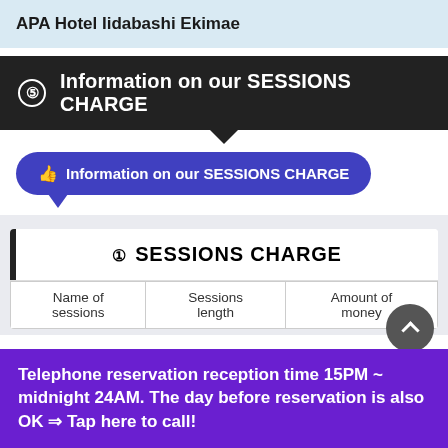APA Hotel Iidabashi Ekimae
⑤ Information on our SESSIONS CHARGE
👍 Information on our SESSIONS CHARGE
① SESSIONS CHARGE
| Name of sessions | Sessions length | Amount of money |
| --- | --- | --- |
Telephone reservation reception time 15PM ~ midnight 24AM. The day before reservation is also OK ⇒ Tap here to call!